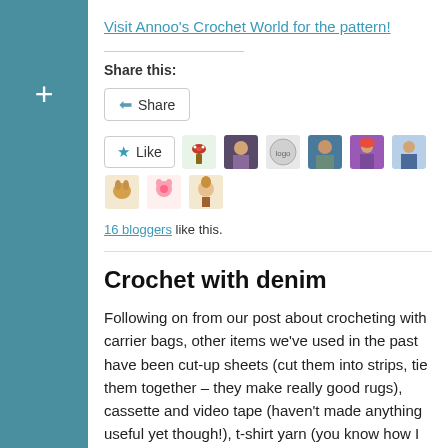Visit Annoo's Crochet World for the pattern!
Share this:
Share
[Figure (other): Like button with star icon followed by a row of blogger avatar thumbnails (mushroom illustration, person photo, stamp logo, person photo, costumed figure, denim jacket person, deer illustration, pink character illustration, bunny illustration)]
16 bloggers like this.
Crochet with denim
Following on from our post about crocheting with carrier bags, other items we've used in the past have been cut-up sheets (cut them into strips, tie them together – they make really good rugs), cassette and video tape (haven't made anything useful yet though!), t-shirt yarn (you know how I love it) and, my personal